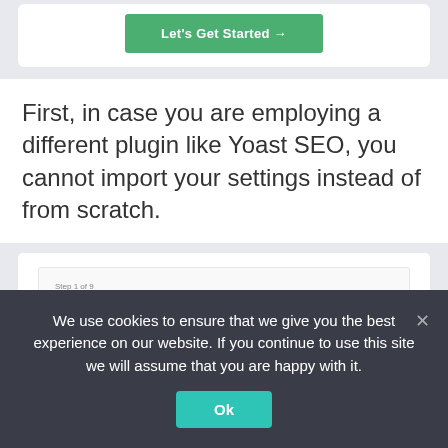[Figure (screenshot): A white card area showing a green 'Let's Get Started →' button centered within it]
First, in case you are employing a different plugin like Yoast SEO, you cannot import your settings instead of from scratch.
[Figure (screenshot): A screenshot of a plugin wizard showing 'Step 1 of 9', heading 'Import data from your current plugins', and description text 'We have detected other SEO plugins installed on your website. Select which plugins you would like to import data to AIOSEO.']
We use cookies to ensure that we give you the best experience on our website. If you continue to use this site we will assume that you are happy with it.